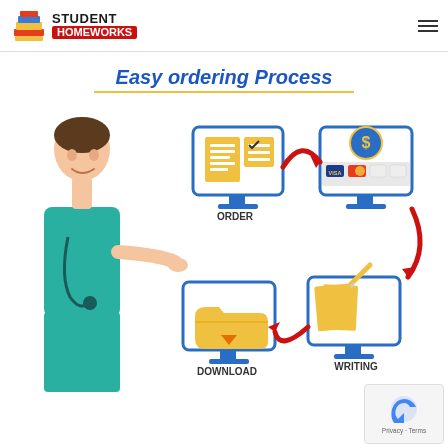[Figure (logo): Student Homeworks logo with stacked books icon and red banner text]
Easy ordering Process
[Figure (flowchart): Circular ordering process diagram showing four steps: ORDER (document/checklist icon on monitor), payment screen (dollar sign with credit cards), WRITING (pen and papers on monitor), DOWNLOAD (folder with arrow on monitor), connected by red curved arrows in a cycle. A smiling nurse in teal scrubs with stethoscope points at the diagram from the left side.]
[Figure (other): Google reCAPTCHA badge with Privacy and Terms links]